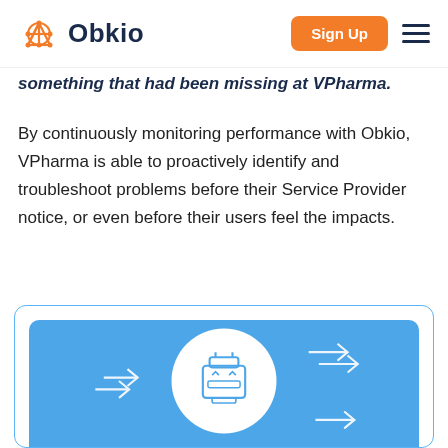Obkio — Sign Up
something that had been missing at VPharma.
By continuously monitoring performance with Obkio, VPharma is able to proactively identify and troubleshoot problems before their Service Provider notice, or even before their users feel the impacts.
[Figure (illustration): Blue panel with a white circle containing a robot/agent icon and directional arrows pointing right, representing Obkio network monitoring agents.]